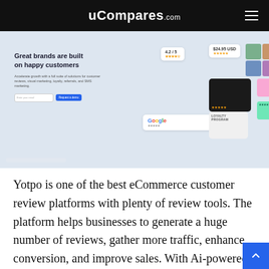uCompares.com
[Figure (screenshot): Screenshot of Yotpo website homepage showing 'Great brands are built on happy customers' headline with email input and 'Request a demo' button, alongside UI mockups featuring star ratings, product images, Google reviews widget, and loyalty program cards]
Yotpo is one of the best eCommerce customer review platforms with plenty of review tools. The platform helps businesses to generate a huge number of reviews, gather more traffic, enhance conversion, and improve sales. With Ai-powered solutions, it turns the user-generated content into sales by collecting customers' reviews, ratings, images, and more. The in-